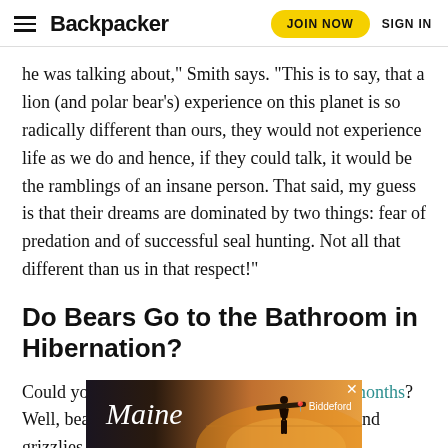Backpacker | JOIN NOW | SIGN IN
he was talking about," Smith says. “This is to say, that a lion (and polar bear’s) experience on this planet is so radically different than ours, they would not experience life as we do and hence, if they could talk, it would be the ramblings of an insane person. That said, my guess is that their dreams are dominated by two things: fear of predation and of successful seal hunting. Not all that different than us in that respect!”
Do Bears Go to the Bathroom in Hibernation?
Could you imagine holding it for months and months? Well, bears can, because they do. Black bears and grizzlies typically don’t ea... They fin... n eating
[Figure (photo): Advertisement banner for Maine with a silhouette of a person holding a surfboard against a sunset sky, with text 'Maine' and 'Biddeford' location pin]